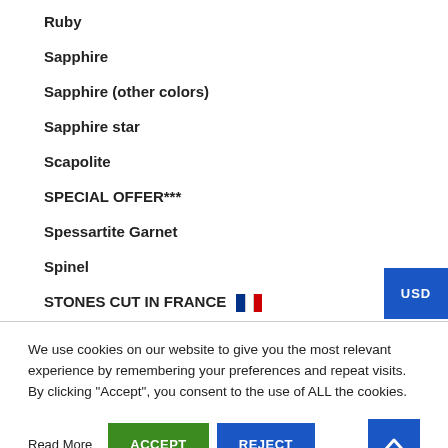Ruby
Sapphire
Sapphire (other colors)
Sapphire star
Scapolite
SPECIAL OFFER***
Spessartite Garnet
Spinel
STONES CUT IN FRANCE 🇫🇷
We use cookies on our website to give you the most relevant experience by remembering your preferences and repeat visits. By clicking "Accept", you consent to the use of ALL the cookies.
Read More | ACCEPT | REJECT | ↑